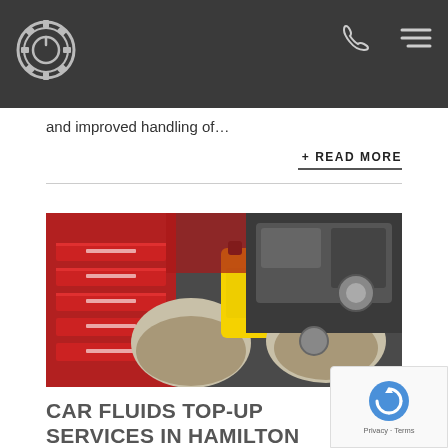Auto repair service website header with logo and navigation icons
and improved handling of…
+ READ MORE
[Figure (photo): Mechanic wearing gloves pouring yellow oil/fluid from a bottle into a car engine, with a red tool chest in the background]
CAR FLUIDS TOP-UP SERVICES IN HAMILTON